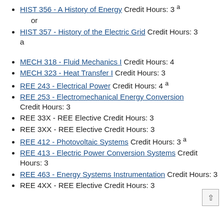HIST 356 - A History of Energy Credit Hours: 3 a
or
HIST 357 - History of the Electric Grid Credit Hours: 3 a
MECH 318 - Fluid Mechanics I Credit Hours: 4
MECH 323 - Heat Transfer I Credit Hours: 3
REE 243 - Electrical Power Credit Hours: 4 a
REE 253 - Electromechanical Energy Conversion Credit Hours: 3
REE 33X - REE Elective Credit Hours: 3
REE 3XX - REE Elective Credit Hours: 3
REE 412 - Photovoltaic Systems Credit Hours: 3 a
REE 413 - Electric Power Conversion Systems Credit Hours: 3
REE 463 - Energy Systems Instrumentation Credit Hours: 3
REE 4XX - REE Elective Credit Hours: 3